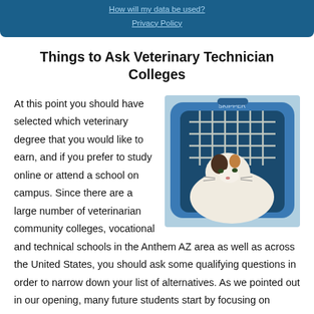How will my data be used?
Privacy Policy
Things to Ask Veterinary Technician Colleges
[Figure (photo): A calico cat sitting inside a blue plastic pet carrier with a metal wire door, viewed from the front.]
At this point you should have selected which veterinary degree that you would like to earn, and if you prefer to study online or attend a school on campus. Since there are a large number of veterinarian community colleges, vocational and technical schools in the Anthem AZ area as well as across the United States, you should ask some qualifying questions in order to narrow down your list of alternatives. As we pointed out in our opening, many future students start by focusing on